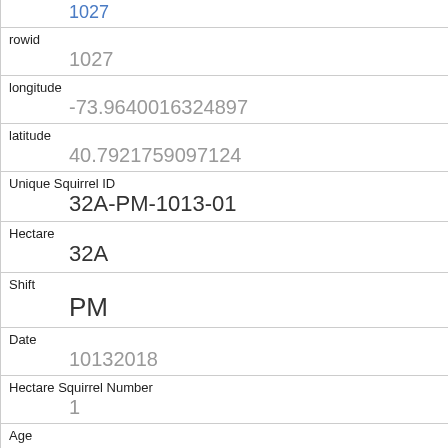1027
rowid
1027
longitude
-73.9640016324897
latitude
40.7921759097124
Unique Squirrel ID
32A-PM-1013-01
Hectare
32A
Shift
PM
Date
10132018
Hectare Squirrel Number
1
Age
Juvenile
Primary Fur Color
Gray